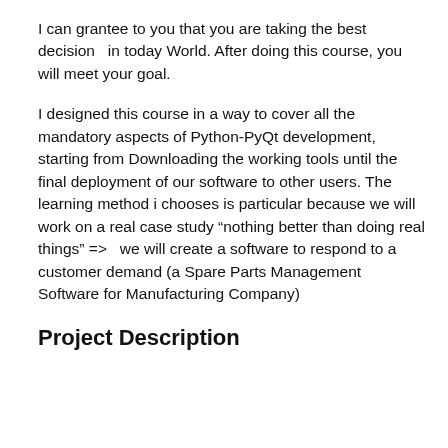I can grantee to you that you are taking the best decision  in today World. After doing this course, you will meet your goal.
I designed this course in a way to cover all the mandatory aspects of Python-PyQt development, starting from Downloading the working tools until the final deployment of our software to other users. The learning method i chooses is particular because we will work on a real case study “nothing better than doing real things” =>  we will create a software to respond to a customer demand (a Spare Parts Management Software for Manufacturing Company)
Project Description